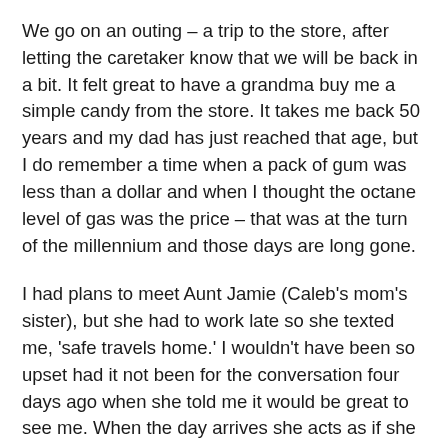We go on an outing – a trip to the store, after letting the caretaker know that we will be back in a bit. It felt great to have a grandma buy me a simple candy from the store. It takes me back 50 years and my dad has just reached that age, but I do remember a time when a pack of gum was less than a dollar and when I thought the octane level of gas was the price – that was at the turn of the millennium and those days are long gone.
I had plans to meet Aunt Jamie (Caleb's mom's sister), but she had to work late so she texted me, 'safe travels home.' I wouldn't have been so upset had it not been for the conversation four days ago when she told me it would be great to see me. When the day arrives she acts as if she didn't know I was going to be here, but I can't give her a hard time since I haven't even met her yet. This leaves me